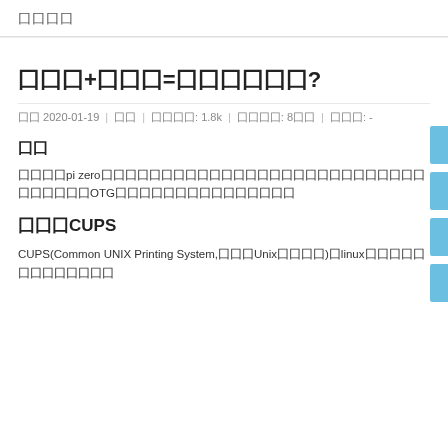囗囗囗囗
囗囗囗+囗囗囗=囗囗囗囗囗囗?
囗囗 2020-01-19 | 囗囗 | 囗囗囗囗: 1.8k | 囗囗囗囗: 8囗囗 | 囗囗囗: -
囗囗
囗囗囗囗pi zero囗囗囗囗囗囗囗囗囗囗囗囗囗囗囗囗囗囗囗囗囗囗囗囗囗囗囗囗囗囗囗囗囗OTG囗囗囗囗囗囗囗囗囗囗囗囗囗囗囗
囗囗囗CUPS
CUPS(Common UNIX Printing System,囗囗囗Unix囗囗囗囗)囗linux囗囗囗囗囗囗囗囗囗囗囗囗囗